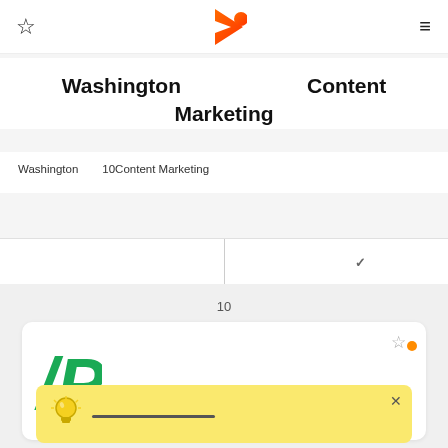Navigation bar with star icon, logo, and menu icon
Washington　　　　　　Content Marketing
Washington　　10Content Marketing
| 　　　　✓
10
[Figure (screenshot): Card with green IP logo and star icon with orange dot]
[Figure (infographic): Yellow tooltip notification with lightbulb icon and text, X close button]